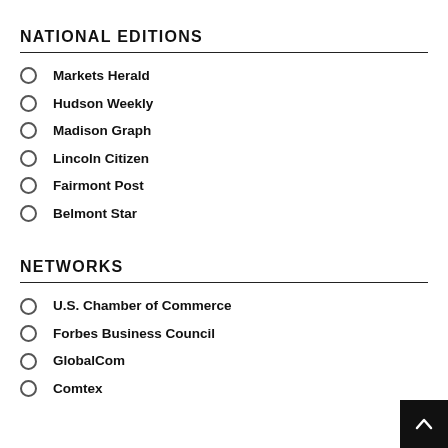NATIONAL EDITIONS
Markets Herald
Hudson Weekly
Madison Graph
Lincoln Citizen
Fairmont Post
Belmont Star
NETWORKS
U.S. Chamber of Commerce
Forbes Business Council
GlobalCom
Comtex